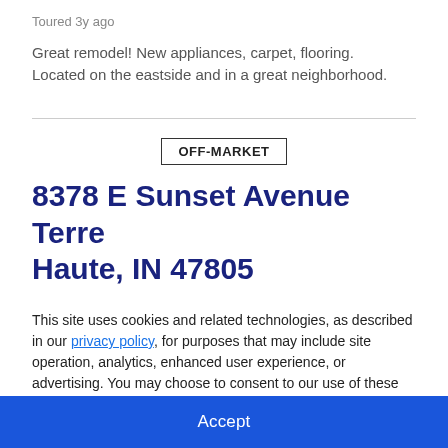Toured 3y ago
Great remodel! New appliances, carpet, flooring. Located on the eastside and in a great neighborhood.
OFF-MARKET
8378 E Sunset Avenue Terre Haute, IN 47805
This site uses cookies and related technologies, as described in our privacy policy, for purposes that may include site operation, analytics, enhanced user experience, or advertising. You may choose to consent to our use of these technologies, or manage your own preferences.
Decline
Accept